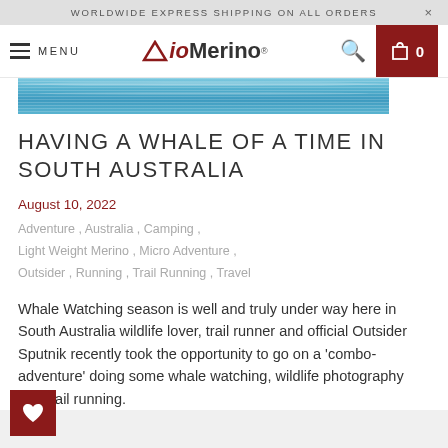WORLDWIDE EXPRESS SHIPPING ON ALL ORDERS
MENU — ioMerino — 0
[Figure (photo): Ocean water surface photo strip, blue water texture]
HAVING A WHALE OF A TIME IN SOUTH AUSTRALIA
August 10, 2022
Adventure , Australia , Camping , Light Weight Merino , Micro Adventure , Outsider , Running , Trail Running , Travel
Whale Watching season is well and truly under way here in South Australia wildlife lover, trail runner and official Outsider Sputnik recently took the opportunity to go on a 'combo-adventure' doing some whale watching, wildlife photography and trail running.